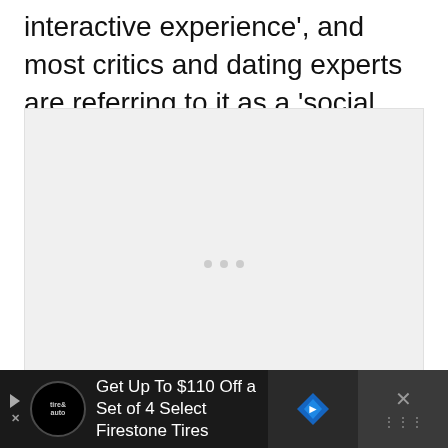interactive experience', and most critics and dating experts are referring to it as a 'social network' on the dating app.
[Figure (other): Gray placeholder advertisement block with three small dots in the center, indicating a loading or empty ad unit]
Get Up To $110 Off a Set of 4 Select Firestone Tires